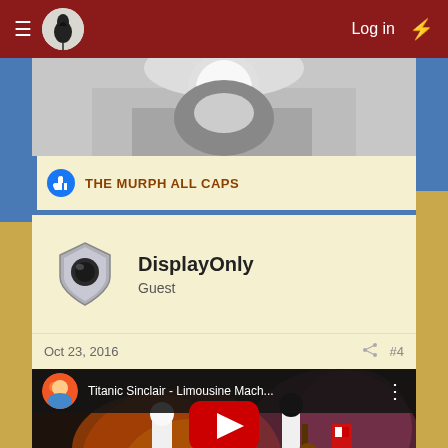Log in
[Figure (screenshot): Partial black and white image at top of post]
THE MURPH ALL CAPS
DisplayOnly
Guest
Oct 23, 2016  #4
[Figure (screenshot): YouTube video embed: Titanic Sinclair - Limousine Mach...]